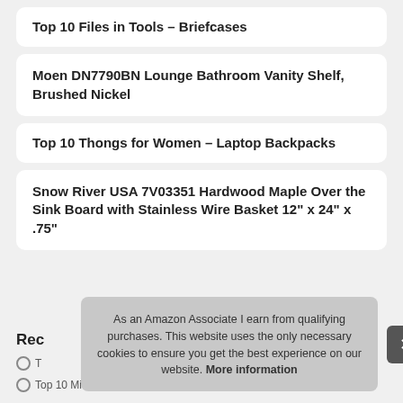Top 10 Files in Tools – Briefcases
Moen DN7790BN Lounge Bathroom Vanity Shelf, Brushed Nickel
Top 10 Thongs for Women – Laptop Backpacks
Snow River USA 7V03351 Hardwood Maple Over the Sink Board with Stainless Wire Basket 12" x 24" x .75"
Rec
T
Top 10 Midsize Luggage with Spinner Wheels – Carry-On
As an Amazon Associate I earn from qualifying purchases. This website uses the only necessary cookies to ensure you get the best experience on our website. More information